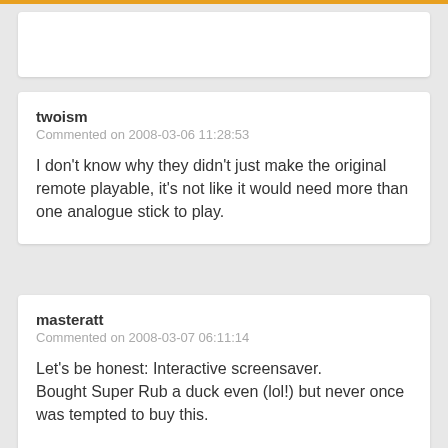twoism
Commented on 2008-03-06 11:28:53
I don't know why they didn't just make the original remote playable, it's not like it would need more than one analogue stick to play.
masteratt
Commented on 2008-03-07 06:11:14
Let's be honest: Interactive screensaver.
Bought Super Rub a duck even (lol!) but never once was tempted to buy this.

On PSP it might work though, for those long tiring journeys.